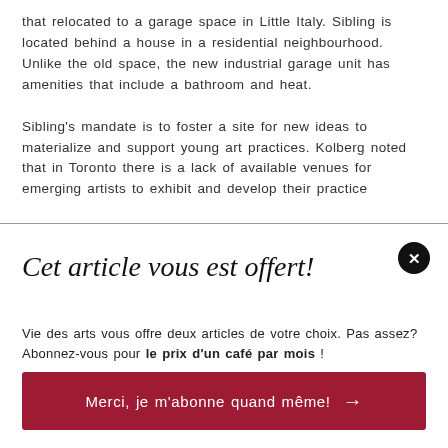that relocated to a garage space in Little Italy. Sibling is located behind a house in a residential neighbourhood. Unlike the old space, the new industrial garage unit has amenities that include a bathroom and heat.

Sibling's mandate is to foster a site for new ideas to materialize and support young art practices. Kolberg noted that in Toronto there is a lack of available venues for emerging artists to exhibit and develop their practice
Cet article vous est offert!
Vie des arts vous offre deux articles de votre choix. Pas assez? Abonnez-vous pour le prix d'un café par mois !
Merci, je m'abonne quand même! →